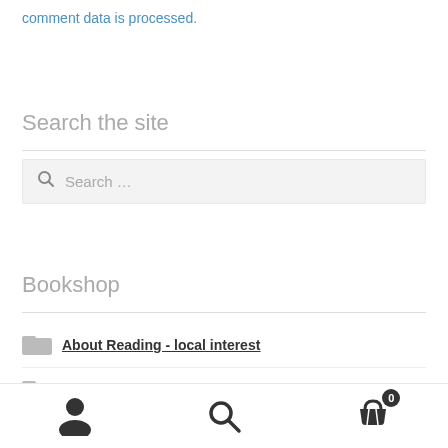comment data is processed.
Search the site
Search...
Bookshop
About Reading - local interest
Amazing women
user icon | search icon | cart icon 0